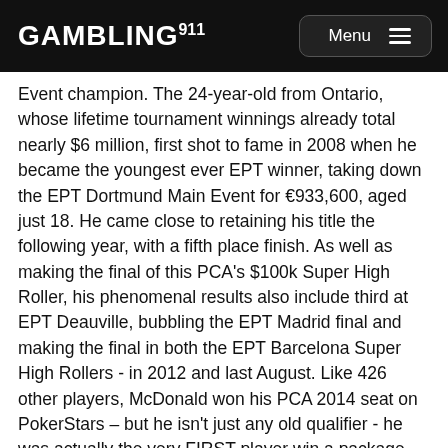GAMBLING911 Menu
Event champion. The 24-year-old from Ontario, whose lifetime tournament winnings already total nearly $6 million, first shot to fame in 2008 when he became the youngest ever EPT winner, taking down the EPT Dortmund Main Event for €933,600, aged just 18. He came close to retaining his title the following year, with a fifth place finish. As well as making the final of this PCA's $100k Super High Roller, his phenomenal results also include third at EPT Deauville, bubbling the EPT Madrid final and making the final in both the EPT Barcelona Super High Rollers - in 2012 and last August. Like 426 other players, McDonald won his PCA 2014 seat on PokerStars – but he isn't just any old qualifier - he was actually the very FIRST player win a package, securing his trip in a $700 qualifier back in August last year.
Seat 7: Madis Muur, 27, Tallinn, Estonia